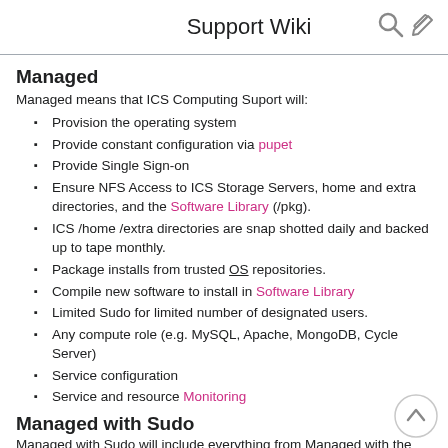Support Wiki
Managed
Managed means that ICS Computing Suport will:
Provision the operating system
Provide constant configuration via pupet
Provide Single Sign-on
Ensure NFS Access to ICS Storage Servers, home and extra directories, and the Software Library (/pkg).
ICS /home /extra directories are snap shotted daily and backed up to tape monthly.
Package installs from trusted OS repositories.
Compile new software to install in Software Library
Limited Sudo for limited number of designated users.
Any compute role (e.g. MySQL, Apache, MongoDB, Cycle Server)
Service configuration
Service and resource Monitoring
Managed with Sudo
Managed with Sudo will include everything from Managed with the